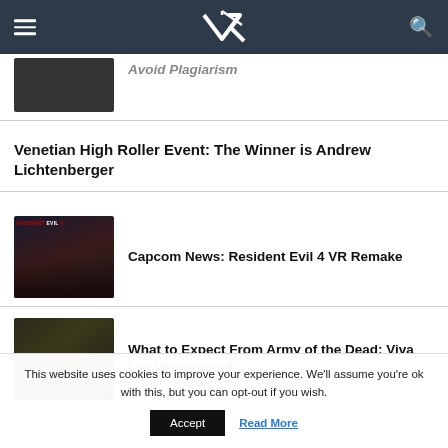VR (logo)
Avoid Plagiarism (partial, cropped)
Venetian High Roller Event: The Winner is Andrew Lichtenberger
Capcom News: Resident Evil 4 VR Remake
What to Expect From Army of the Dead: Viva Las Vengeance?
This website uses cookies to improve your experience. We'll assume you're ok with this, but you can opt-out if you wish.
Accept   Read More